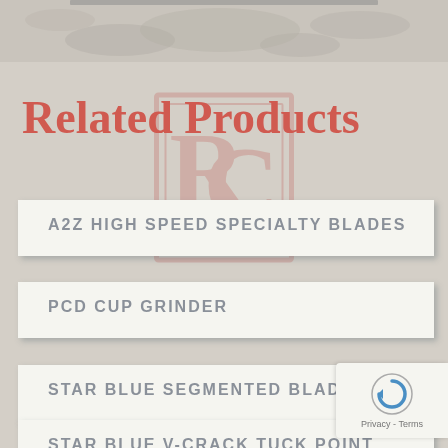[Figure (illustration): Top decorative banner with world map texture in muted gray/beige tones]
[Figure (logo): RC company logo watermark in red/coral, semi-transparent, showing stylized R and C letters in a square frame]
Related Products
A2Z HIGH SPEED SPECIALTY BLADES
PCD CUP GRINDER
STAR BLUE SEGMENTED BLADE
STAR BLUE V-CRACK TUCK POINT DIAMOND BLADES
[Figure (other): Google reCAPTCHA badge with circular arrow icon and 'Privacy - Terms' text]